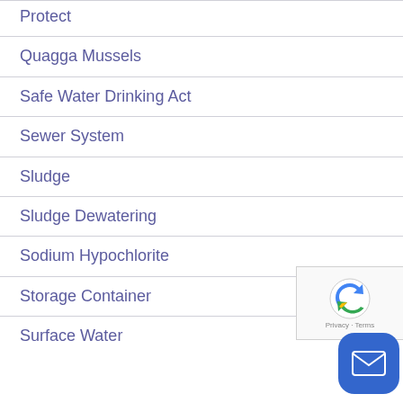Protect
Quagga Mussels
Safe Water Drinking Act
Sewer System
Sludge
Sludge Dewatering
Sodium Hypochlorite
Storage Container
Surface Water